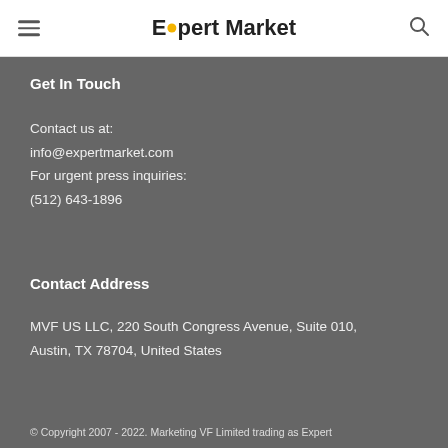Expert Market
Get In Touch
Contact us at:
info@expertmarket.com
For urgent press inquiries:
(512) 643-1896
Contact Address
MVF US LLC, 220 South Congress Avenue, Suite 010, Austin, TX 78704, United States
© Copyright 2007 - 2022. Marketing VF Limited trading as Expert